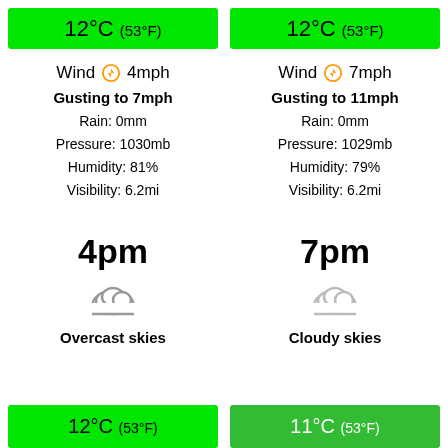12°C (53°F)
Wind 4mph
Gusting to 7mph
Rain: 0mm
Pressure: 1030mb
Humidity: 81%
Visibility: 6.2mi
12°C (53°F)
Wind 7mph
Gusting to 11mph
Rain: 0mm
Pressure: 1029mb
Humidity: 79%
Visibility: 6.2mi
4pm
[Figure (illustration): Cloud icon (overcast)]
Overcast skies
12°C (53°F)
7pm
[Figure (illustration): Cloud icon (cloudy)]
Cloudy skies
11°C (53°F)